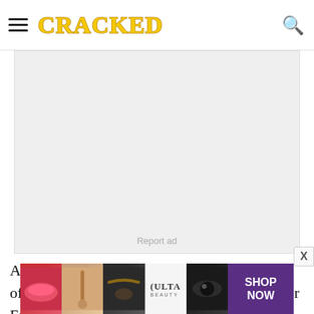CRACKED
[Figure (other): Advertisement placeholder block with 'Report ad' label]
And that was that; the photo triggered a wave of copycat offenders at sporting events all over England, and then the rest of Europe and finally America. For the next four decades.
[Figure (other): Ulta Beauty advertisement banner showing makeup images with 'SHOP NOW' call to action]